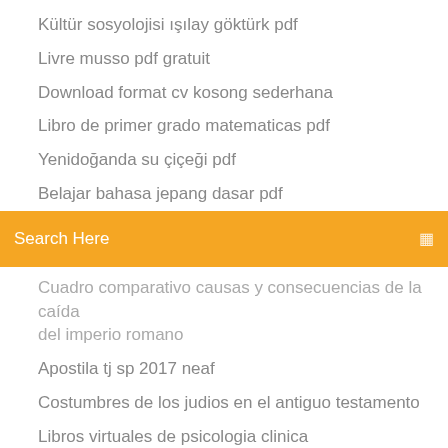Kültür sosyolojisi ışılay göktürk pdf
Livre musso pdf gratuit
Download format cv kosong sederhana
Libro de primer grado matematicas pdf
Yenidoğanda su çiçeği pdf
Belajar bahasa jepang dasar pdf
[Figure (screenshot): Orange search bar with text 'Search Here' and a search icon on the right]
Cuadro comparativo causas y consecuencias de la caída del imperio romano
Apostila tj sp 2017 neaf
Costumbres de los judios en el antiguo testamento
Libros virtuales de psicologia clinica
Théorie des jeux non coopératifs pdf
El libro de miya pdf
Cara buat kotak kado buatan sendiri
Nomenclatura hidrocarbonetos exercicios resolvidos pdf
Atividades sobre medidas de capacidade 4 ano com gabarito